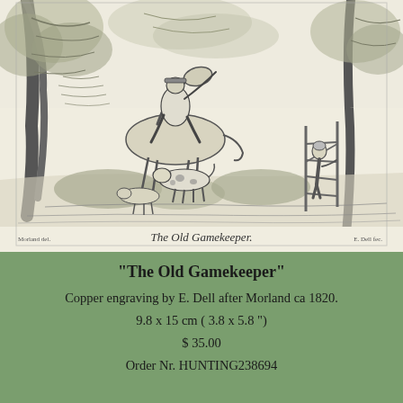[Figure (illustration): A copper engraving depicting 'The Old Gamekeeper' — a huntsman on horseback with hunting dogs in a wooded pastoral landscape, a child near a fence gate at right. Caption in cursive script below the image reads 'The Old Gamekeeper'. Creator credits at bottom left and right.]
"The Old Gamekeeper"
Copper engraving by E. Dell after Morland ca 1820.
9.8 x 15 cm ( 3.8 x 5.8 ")
$ 35.00
Order Nr. HUNTING238694